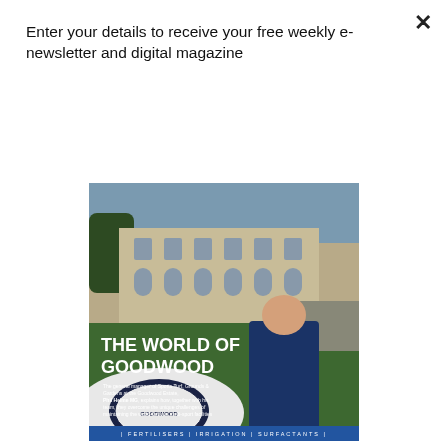Enter your details to receive your free weekly e-newsletter and digital magazine
Subscribe
[Figure (photo): Magazine cover showing 'THE WORLD OF GOODWOOD' with a man in a navy blue fleece holding something in his hands, standing in front of a large stone building. Text describes the general manager of Sports Turf, Grounds & Gardens at the Goodwood Estate, Phil Helme MG, explaining how together with his team, they overcome the unique challenges of maintaining the world-famous multi-sport facilities including the golf courses at Golf at Goodwood. Bottom bar shows: FERTILISERS | IRRIGATION | SURFACTANTS]